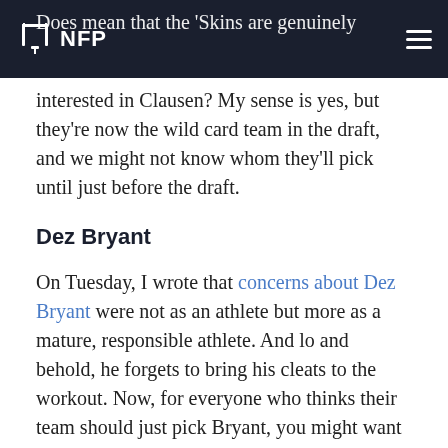NFP
Does mean that the 'Skins are genuinely interested in Clausen? My sense is yes, but they're now the wild card team in the draft, and we might not know whom they'll pick until just before the draft.
Dez Bryant
On Tuesday, I wrote that concerns about Dez Bryant were not as an athlete but more as a mature, responsible athlete. And lo and behold, he forgets to bring his cleats to the workout. Now, for everyone who thinks their team should just pick Bryant, you might want to consider what life would be like coaching him once he's been paid large sums of money.
Bryant is a great player, but forgetting his cleats confirms that his maturity level, along with questions about him being a responsible person, is still a huge concern.